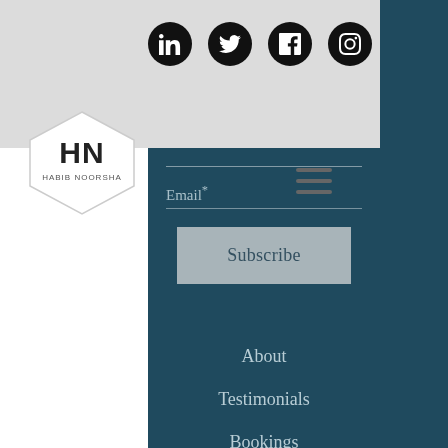[Figure (logo): Social media icons row: LinkedIn, Twitter, Facebook, Instagram — black circular icons]
[Figure (logo): HN hexagon logo for Habib Noorsha]
[Figure (other): Hamburger menu icon (three horizontal lines)]
Email*
Subscribe
About
Testimonials
Bookings